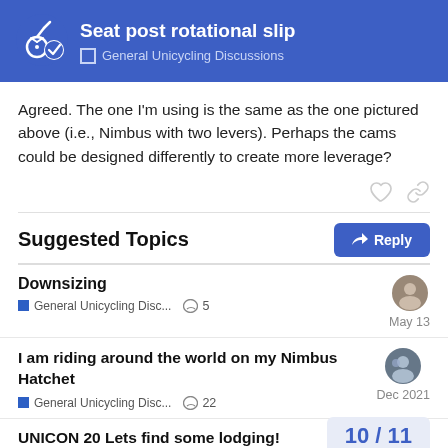Seat post rotational slip — General Unicycling Discussions
Agreed. The one I'm using is the same as the one pictured above (i.e., Nimbus with two levers). Perhaps the cams could be designed differently to create more leverage?
Suggested Topics
Downsizing
General Unicycling Disc... 💬 5 — May 13
I am riding around the world on my Nimbus Hatchet
General Unicycling Disc... 💬 22 — Dec 2021
UNICON 20 Lets find some lodging!
10 / 11